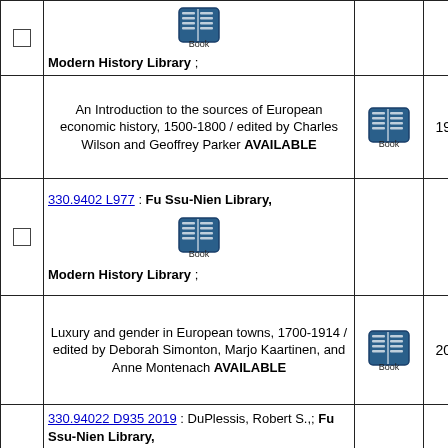| checkbox | description | type | year |
| --- | --- | --- | --- |
| ☐ | Modern History Library ; | Book |  |
|  | An Introduction to the sources of European economic history, 1500-1800 / edited by Charles Wilson and Geoffrey Parker AVAILABLE | Book | 1977 |
| ☐ | 330.9402 L977 : Fu Ssu-Nien Library, Modern History Library ; | Book |  |
|  | Luxury and gender in European towns, 1700-1914 / edited by Deborah Simonton, Marjo Kaartinen, and Anne Montenach AVAILABLE | Book | 2015 |
|  | 330.94022 D935 2019 : DuPlessis, Robert S.,; Fu Ssu-Nien Library, Modern History Library ; | Book |  |
| ☐ | Transitions to capitalism in early modern Europe : economies in the era of early globalization, c. 1450-c. 1820 / Robert S. DuPlessis, Swarthmore | Book | 2019 |